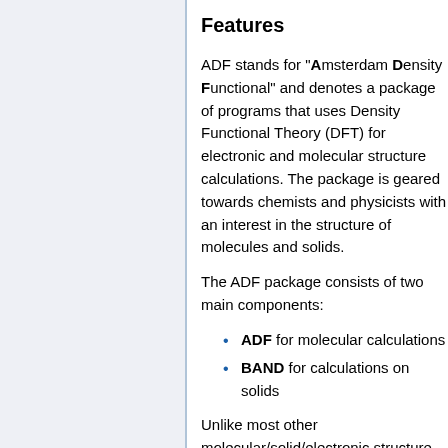Features
ADF stands for "Amsterdam Density Functional" and denotes a package of programs that uses Density Functional Theory (DFT) for electronic and molecular structure calculations. The package is geared towards chemists and physicists with an interest in the structure of molecules and solids.
The ADF package consists of two main components:
ADF for molecular calculations
BAND for calculations on solids
Unlike most other molecular/solid/electronic structure codes, ADF employs "Slater-type" basis sets, ie, functions that have an exponential behaviour, which are more suitable for the description of chemical systems than the more commonly